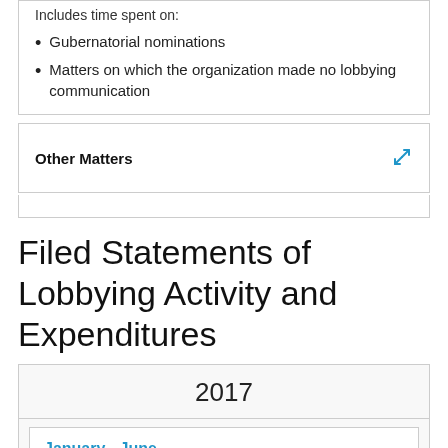Includes time spent on:
Gubernatorial nominations
Matters on which the organization made no lobbying communication
Other Matters
Filed Statements of Lobbying Activity and Expenditures
2017
January - June
July - December